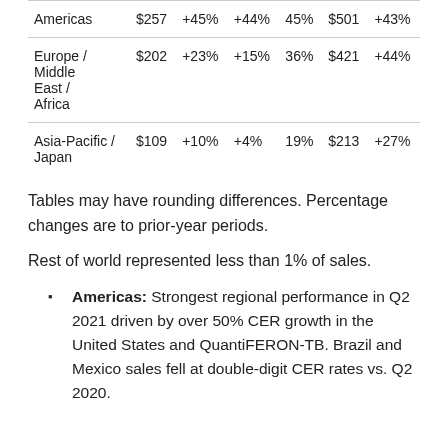| Americas | $257 | +45% | +44% | 45% | $501 | +43% |
| Europe / Middle East / Africa | $202 | +23% | +15% | 36% | $421 | +44% |
| Asia-Pacific / Japan | $109 | +10% | +4% | 19% | $213 | +27% |
Tables may have rounding differences. Percentage changes are to prior-year periods.
Rest of world represented less than 1% of sales.
Americas: Strongest regional performance in Q2 2021 driven by over 50% CER growth in the United States and QuantiFERON-TB. Brazil and Mexico sales fell at double-digit CER rates vs. Q2 2020.